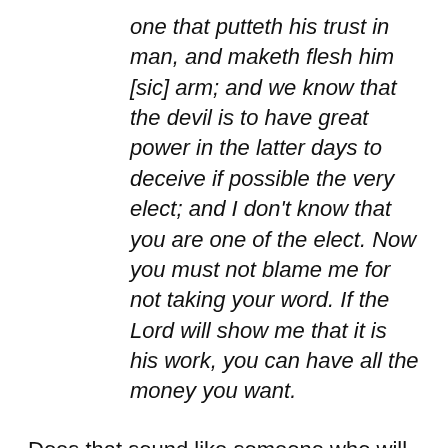one that putteth his trust in man, and maketh flesh him [sic] arm; and we know that the devil is to have great power in the latter days to deceive if possible the very elect; and I don't know that you are one of the elect. Now you must not blame me for not taking your word. If the Lord will show me that it is his work, you can have all the money you want.
Does that sound like someone who will believe anything to you? Because it doesn't to me. Jeremy continues:
Reports assert that he and the other witnesses